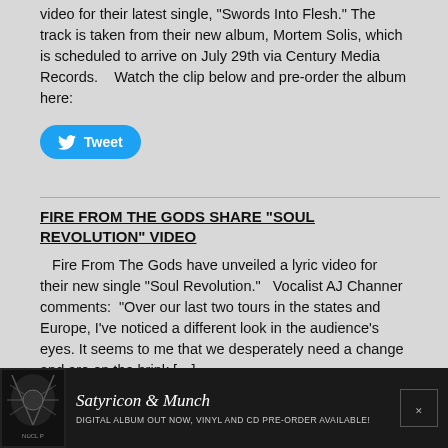video for their latest single, “Swords Into Flesh.” The track is taken from their new album, Mortem Solis, which is scheduled to arrive on July 29th via Century Media Records.    Watch the clip below and pre-order the album here:
[Figure (other): Tweet button (Twitter share button, blue rounded rectangle with bird icon and 'Tweet' text)]
FIRE FROM THE GODS SHARE “SOUL REVOLUTION” VIDEO
Fire From The Gods have unveiled a lyric video for their new single “Soul Revolution.”   Vocalist AJ Channer comments:  “Over our last two tours in the states and Europe, I’ve noticed a different look in the audience’s eyes. It seems to me that we desperately need a change and are on the brink […]
[Figure (other): Tweet button (Twitter share button, blue rounded rectangle with bird icon and 'Tweet' text)]
[Figure (other): Advertisement banner: Satyricon & Munch - Digital album out now, vinyl and CD pre-order available!]